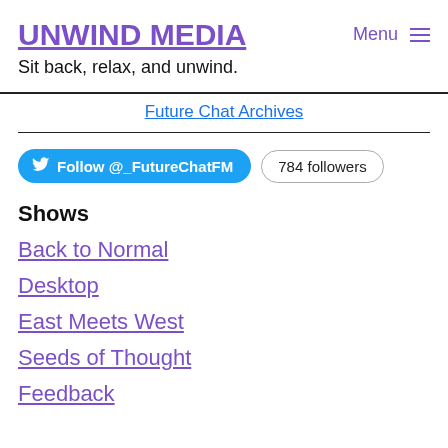UNWIND MEDIA | Menu
Sit back, relax, and unwind.
Future Chat Archives
Follow @_FutureChatFM  784 followers
Shows
Back to Normal
Desktop
East Meets West
Seeds of Thought
Feedback